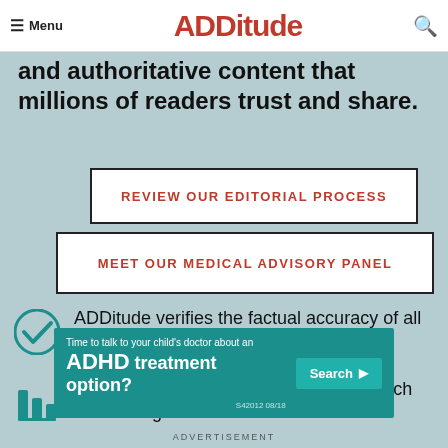Menu | ADDitude
and authoritative content that millions of readers trust and share.
REVIEW OUR EDITORIAL PROCESS
MEET OUR MEDICAL ADVISORY PANEL
ADDitude verifies the factual accuracy of all new content.
Sources are cited for all scientific research and findings.
[Figure (infographic): Advertisement banner: Time to talk to your child's doctor about an ADHD treatment option? Search button. S42012 08/18]
ADVERTISEMENT